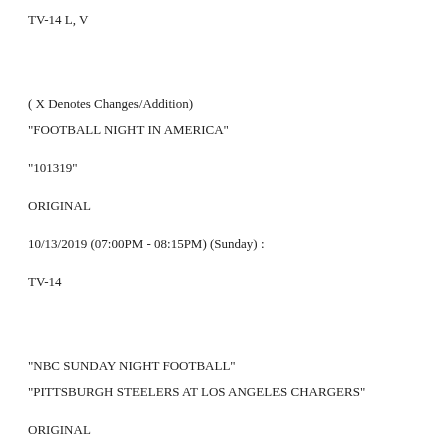TV-14 L, V
( X Denotes Changes/Addition)
"FOOTBALL NIGHT IN AMERICA"
"101319"
ORIGINAL
10/13/2019 (07:00PM - 08:15PM) (Sunday) :
TV-14
"NBC SUNDAY NIGHT FOOTBALL"
"PITTSBURGH STEELERS AT LOS ANGELES CHARGERS"
ORIGINAL